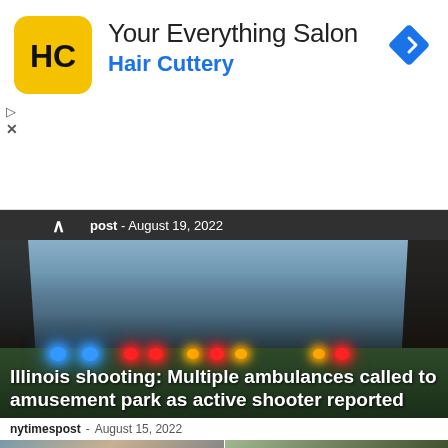[Figure (other): Hair Cuttery advertisement banner with yellow square logo showing 'HC', text 'Your Everything Salon' and 'Hair Cuttery' in blue, with a blue navigation diamond icon on the right]
post - August 19, 2022
[Figure (photo): Nighttime scene at an amusement park with multiple emergency vehicles with flashing blue, red and amber lights in the background; people walking in silhouette in the foreground; trees framing the top of the image]
Illinois shooting: Multiple ambulances called to amusement park as active shooter reported
nytimespost  -  August 15, 2022
[Figure (photo): Bottom left thumbnail - partial view of a news article image]
[Figure (photo): Bottom right thumbnail - partial view of a news article image with green foliage]